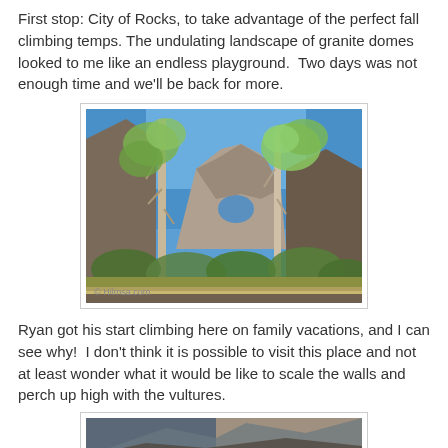First stop: City of Rocks, to take advantage of the perfect fall climbing temps. The undulating landscape of granite domes looked to me like an endless playground.  Two days was not enough time and we'll be back for more.
[Figure (photo): Outdoor nature photo showing granite rock formations with a natural arch or window, surrounded by aspen trees with green/yellow leaves and shrubs. Blue sky visible in background. Photo credit: © Hilmsa.com]
Ryan got his start climbing here on family vacations, and I can see why!  I don't think it is possible to visit this place and not at least wonder what it would be like to scale the walls and perch up high with the vultures.
[Figure (photo): Partial outdoor photo visible at bottom of page, appears to show a rocky landscape or climbing area.]